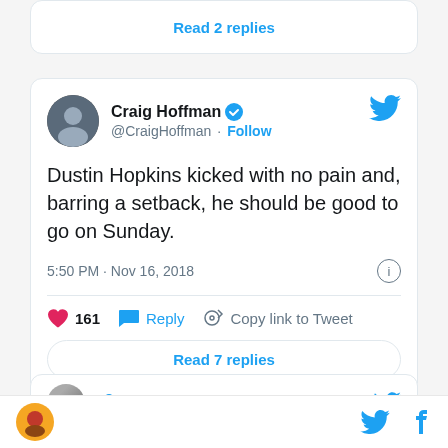Read 2 replies
Craig Hoffman @CraigHoffman · Follow
Dustin Hopkins kicked with no pain and, barring a setback, he should be good to go on Sunday.
5:50 PM · Nov 16, 2018
161  Reply  Copy link to Tweet
Read 7 replies